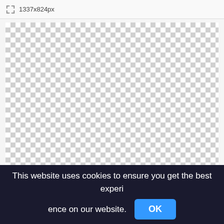1337x824px
[Figure (other): Transparent checkerboard pattern area representing an empty image canvas of 1337x824px]
This website uses cookies to ensure you get the best experience on our website. OK